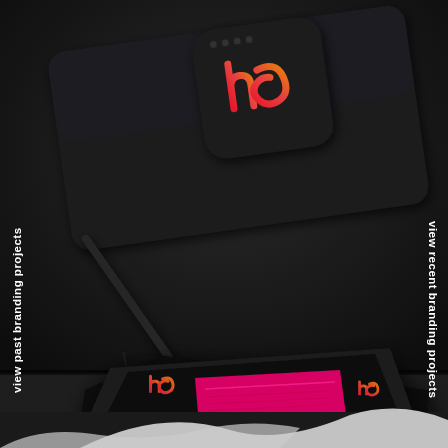[Figure (photo): Dark background product mockup page showing two scenes: top half shows a dark rounded-square device/card with a gradient red-to-orange 'hg' logo on black background, with a stylus/pen beside it; bottom half shows a dark tablet in perspective view displaying a branding app/interface with the same 'hg' logo and a bright pink/magenta UI card with menu items, and a secondary logo instance at right on the screen. Bottom edge shows a partial third scene with a white/silver wavy surface. Left side has vertical white text reading 'view past branding projects'. Right side has vertical white text reading 'view recent branding projects'.]
view past branding projects
view recent branding projects